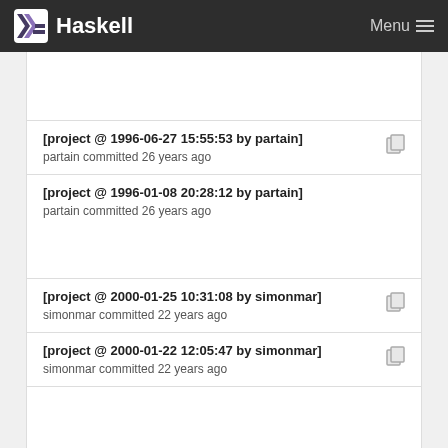Haskell  Menu
[project @ 1996-06-27 15:55:53 by partain]
partain committed 26 years ago
[project @ 1996-01-08 20:28:12 by partain]
partain committed 26 years ago
[project @ 2000-01-25 10:31:08 by simonmar]
simonmar committed 22 years ago
[project @ 2000-01-22 12:05:47 by simonmar]
simonmar committed 22 years ago